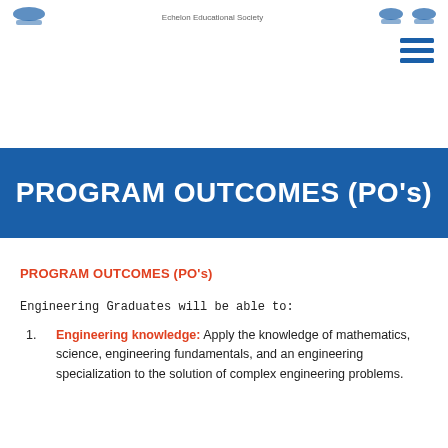Echelon Educational Society
[Figure (logo): Hamburger/menu icon with three blue horizontal lines]
PROGRAM OUTCOMES (PO's)
PROGRAM OUTCOMES (PO's)
Engineering Graduates will be able to:
Engineering knowledge: Apply the knowledge of mathematics, science, engineering fundamentals, and an engineering specialization to the solution of complex engineering problems.